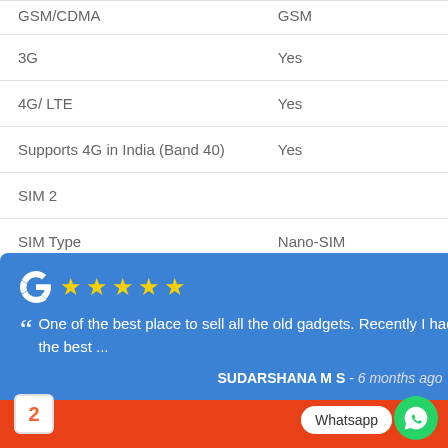| Feature | Value |
| --- | --- |
| GSM/CDMA | GSM |
| 3G | Yes |
| 4G/ LTE | Yes |
| Supports 4G in India (Band 40) | Yes |
| SIM 2 |  |
| SIM Type | Nano-SIM |
One of the best place to sell all the old gadgets. Recently I had sold oneplus 5T and got the best ...
SUDARSHANA M S - 6 months ago